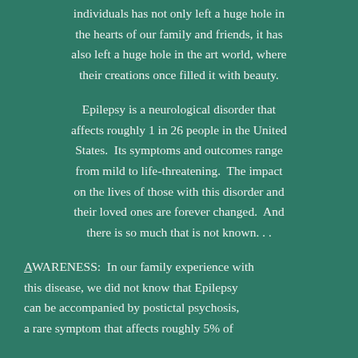individuals has not only left a huge hole in the hearts of our family and friends, it has also left a huge hole in the art world, where their creations once filled it with beauty.
Epilepsy is a neurological disorder that affects roughly 1 in 26 people in the United States.  Its symptoms and outcomes range from mild to life-threatening.  The impact on the lives of those with this disorder and their loved ones are forever changed.  And there is so much that is not known. . .
AWARENESS:  In our family experience with this disease, we did not know that Epilepsy can be accompanied by postictal psychosis, a rare symptom that affects roughly 5% of